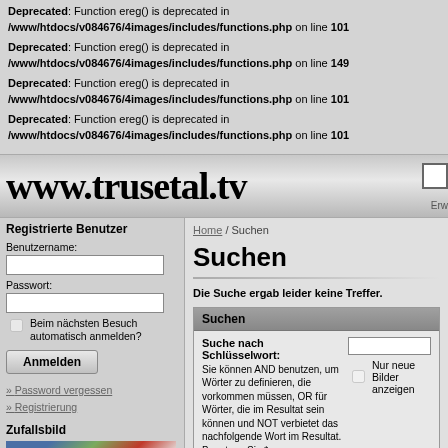Deprecated: Function ereg() is deprecated in /www/htdocs/v084676/4images/includes/functions.php on line 101
Deprecated: Function ereg() is deprecated in /www/htdocs/v084676/4images/includes/functions.php on line 149
Deprecated: Function ereg() is deprecated in /www/htdocs/v084676/4images/includes/functions.php on line 101
Deprecated: Function ereg() is deprecated in /www/htdocs/v084676/4images/includes/functions.php on line 101
www.trusetal.tv
Registrierte Benutzer
Benutzername:
Passwort:
Beim nächsten Besuch automatisch anmelden?
Anmelden
» Password vergessen
» Registrierung
Zufallsbild
Home / Suchen
Suchen
Die Suche ergab leider keine Treffer.
Suchen
Suche nach Schlüsselwort:
Sie können AND benutzen, um Wörter zu definieren, die vorkommen müssen, OR für Wörter, die im Resultat sein können und NOT verbietet das nachfolgende Wort im Resultat. Benutzen Sie *
Nur neue Bilder anzeigen